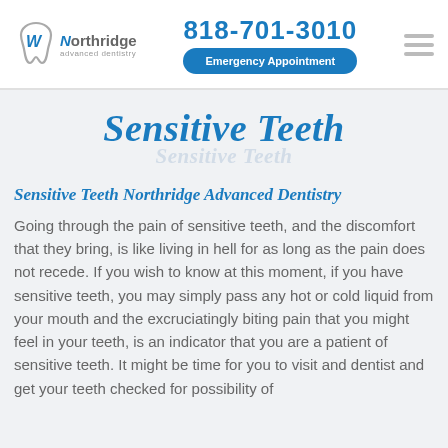818-701-3010 | Emergency Appointment | Northridge advanced dentistry
Sensitive Teeth
Sensitive Teeth Northridge Advanced Dentistry
Going through the pain of sensitive teeth, and the discomfort that they bring, is like living in hell for as long as the pain does not recede. If you wish to know at this moment, if you have sensitive teeth, you may simply pass any hot or cold liquid from your mouth and the excruciatingly biting pain that you might feel in your teeth, is an indicator that you are a patient of sensitive teeth. It might be time for you to visit and dentist and get your teeth checked for possibility of